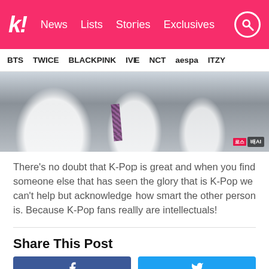k! News  Lists  Stories  Exclusives
BTS  TWICE  BLACKPINK  IVE  NCT  aespa  ITZY
[Figure (photo): K-Pop TV show screenshot showing people in school uniforms with a striped tie visible; Korean TV channel badge in bottom right corner]
There's no doubt that K-Pop is great and when you find someone else that has seen the glory that is K-Pop we can't help but acknowledge how smart the other person is. Because K-Pop fans really are intellectuals!
Share This Post